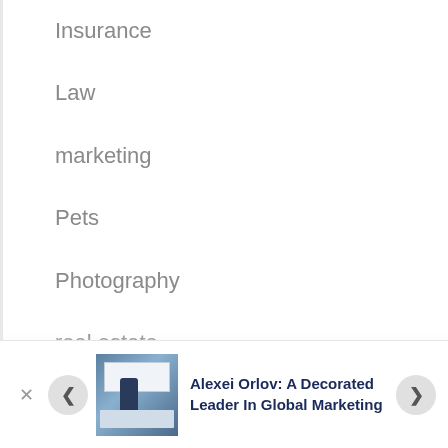Insurance
Law
marketing
Pets
Photography
real estate
Shopping
Technology (partially visible)
[Figure (screenshot): Bottom notification bar with close button, back navigation arrow, a thumbnail image of a person presenting at a whiteboard, article title text, and forward navigation arrow]
Alexei Orlov: A Decorated Leader In Global Marketing